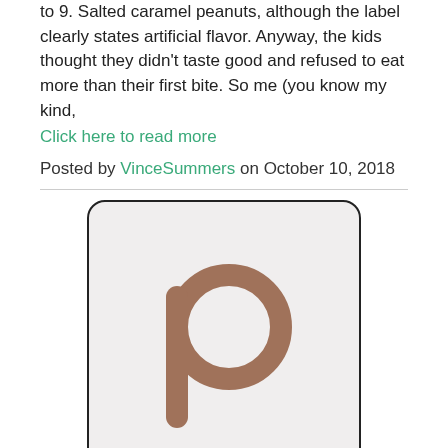to 9. Salted caramel peanuts, although the label clearly states artificial flavor. Anyway, the kids thought they didn't taste good and refused to eat more than their first bite. So me (you know my kind,
Click here to read more
Posted by VinceSummers on October 10, 2018
[Figure (logo): Rounded rectangle box with a brown lowercase letter 'p' logo centered on a light gray background, resembling the PeerJ or similar platform logo.]
A new site I just "discovered"... Humans.net
I don't know if you will find it interesting... Anyway, here we go! As I teach Spanish online, I was interested in finding either a site where I can write and earn or a site to offer my services as a teacher -